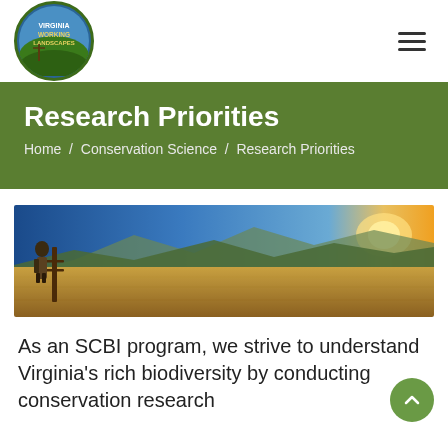Virginia Working Landscapes [logo] [hamburger menu]
Research Priorities
Home / Conservation Science / Research Priorities
[Figure (photo): Panoramic landscape photo of a golden grassland field at sunset/dusk with a person standing near a fence post in the left foreground, mountains visible in the background under a blue sky.]
As an SCBI program, we strive to understand Virginia's rich biodiversity by conducting conservation research